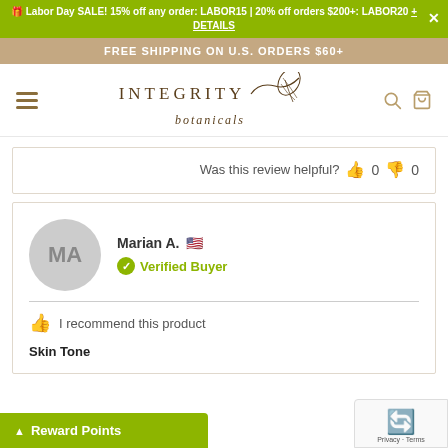🎁 Labor Day SALE! 15% off any order: LABOR15 | 20% off orders $200+: LABOR20 + DETAILS
FREE SHIPPING ON U.S. ORDERS $60+
[Figure (logo): Integrity Botanicals logo with decorative leaf motif]
Was this review helpful? 👍 0 👎 0
Marian A. 🇺🇸
✓ Verified Buyer
👍 I recommend this product
Skin Tone
Reward Points